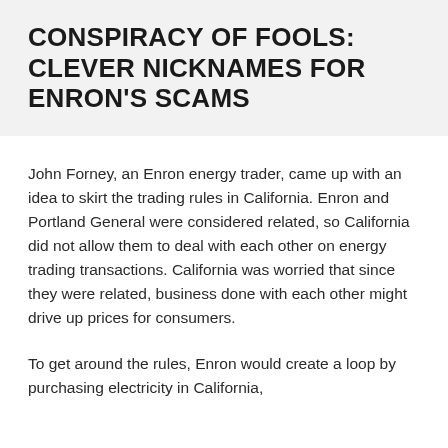CONSPIRACY OF FOOLS: CLEVER NICKNAMES FOR ENRON'S SCAMS
John Forney, an Enron energy trader, came up with an idea to skirt the trading rules in California. Enron and Portland General were considered related, so California did not allow them to deal with each other on energy trading transactions. California was worried that since they were related, business done with each other might drive up prices for consumers.
To get around the rules, Enron would create a loop by purchasing electricity in California,